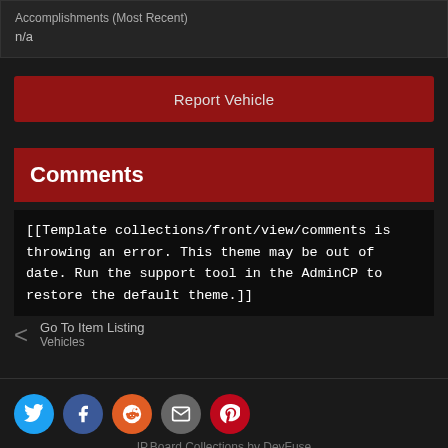n/a
Report Vehicle
Comments
[[Template collections/front/view/comments is throwing an error. This theme may be out of date. Run the support tool in the AdminCP to restore the default theme.]]
Go To Item Listing
Vehicles
IP.Board Collections by DevFuse